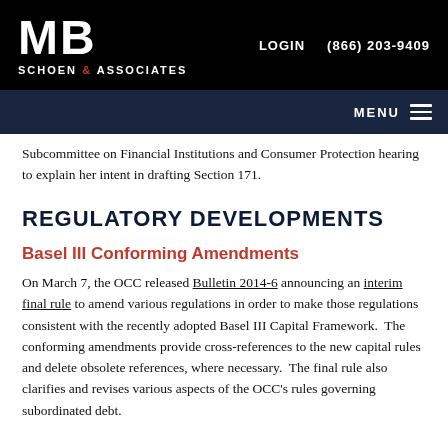MB Schoen & Associates | LOGIN | (866) 203-9409
Subcommittee on Financial Institutions and Consumer Protection hearing to explain her intent in drafting Section 171.
REGULATORY DEVELOPMENTS
Basel III Conforming Amendments
On March 7, the OCC released Bulletin 2014-6 announcing an interim final rule to amend various regulations in order to make those regulations consistent with the recently adopted Basel III Capital Framework.  The conforming amendments provide cross-references to the new capital rules and delete obsolete references, where necessary.  The final rule also clarifies and revises various aspects of the OCC's rules governing subordinated debt.